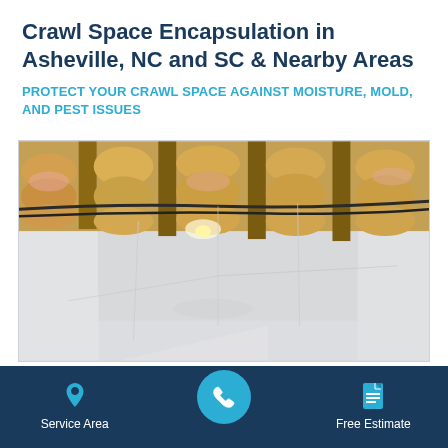Crawl Space Encapsulation in Asheville, NC and SC & Nearby Areas
PROTECT YOUR CRAWL SPACE AGAINST MOISTURE, MOLD, AND PEST ISSUES
[Figure (photo): Interior view of a crawl space with white plastic encapsulation sheeting covering the walls and floor, and exposed insulation on the ceiling joists above]
Service Area | [Phone] | Free Estimate